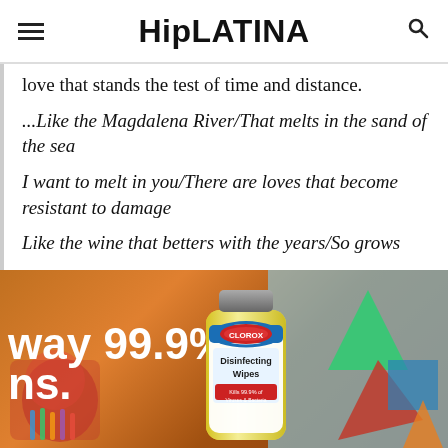HipLATINA
love that stands the test of time and distance.
...Like the Magdalena River/That melts in the sand of the sea
I want to melt in you/There are loves that become resistant to damage
Like the wine that betters with the years/So grows
[Figure (photo): Advertisement showing a Clorox Disinfecting Wipes container against a blurred colorful background with text 'way 99.9%' and 'ns.']